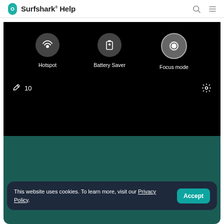Surfshark® Help
[Figure (screenshot): Android phone quick settings panel showing Hotspot, Battery Saver, and Focus mode tiles on a black background, followed by a teal/dark green area below. A pencil icon and '10' text appear at the bottom left, and a settings gear icon at the bottom right.]
This website uses cookies. To learn more, visit our Privacy Policy.